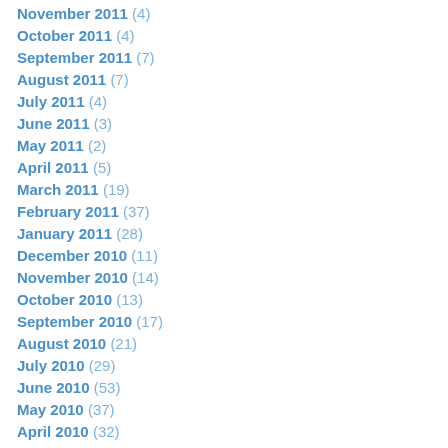November 2011 (4)
October 2011 (4)
September 2011 (7)
August 2011 (7)
July 2011 (4)
June 2011 (3)
May 2011 (2)
April 2011 (5)
March 2011 (19)
February 2011 (37)
January 2011 (28)
December 2010 (11)
November 2010 (14)
October 2010 (13)
September 2010 (17)
August 2010 (21)
July 2010 (29)
June 2010 (53)
May 2010 (37)
April 2010 (32)